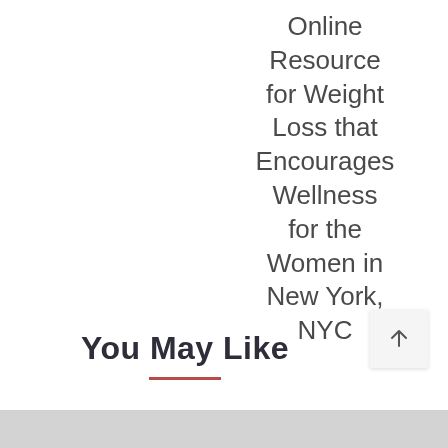Online Resource for Weight Loss that Encourages Wellness for the Women in New York, NYC
You May Like
[Figure (other): Gray image/content bar at the bottom of the page]